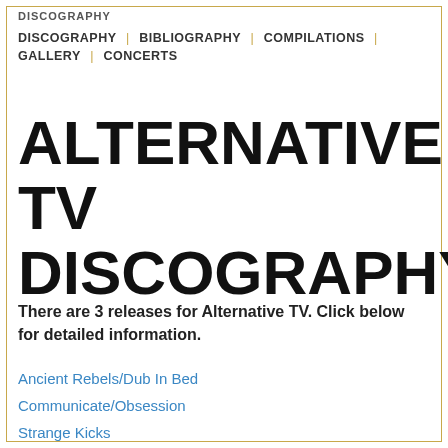DISCOGRAPHY
DISCOGRAPHY | BIBLIOGRAPHY | COMPILATIONS | GALLERY | CONCERTS
ALTERNATIVE TV DISCOGRAPHY
There are 3 releases for Alternative TV. Click below for detailed information.
Ancient Rebels/Dub In Bed
Communicate/Obsession
Strange Kicks